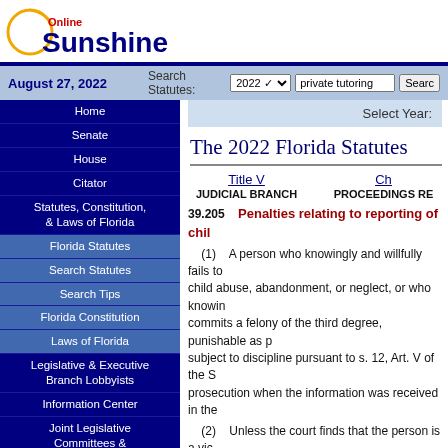[Figure (logo): Online Sunshine logo with circular sun graphic, 'Online' in red and 'Sunshine' in dark blue bold text]
August 27, 2022  Search Statutes: 2022  private tutoring  Search
Home
Senate
House
Citator
Statutes, Constitution, & Laws of Florida
Florida Statutes
Search Statutes
Search Tips
Florida Constitution
Laws of Florida
Legislative & Executive Branch Lobbyists
Information Center
Joint Legislative Committees & Other Entities
Historical Committees
Florida Government Efficiency Task Force
Legislative Employment
Legistore
The 2022 Florida Statutes
Title V
JUDICIAL BRANCH
Ch
PROCEEDINGS RE
39.205    Penalties relating to reporting of chil
(1)    A person who knowingly and willfully fails to report child abuse, abandonment, or neglect, or who knowin commits a felony of the third degree, punishable as p subject to discipline pursuant to s. 12, Art. V of the S prosecution when the information was received in the
(2)    Unless the court finds that the person is a vic circumstances exist, a person who is 18 years of age who is known or suspected to be a victim of child abu knowingly and willfully fails to report the child abuse